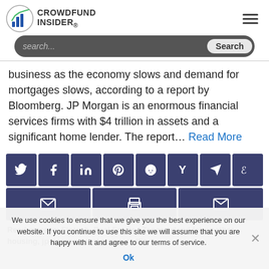CROWDFUND INSIDER
business as the economy slows and demand for mortgages slows, according to a report by Bloomberg. JP Morgan is an enormous financial services firms with $4 trillion in assets and a significant home lender. The report… Read More
[Figure (other): Social sharing buttons: Twitter, Facebook, LinkedIn, Pinterest, Reddit, Hacker News, Telegram, Weibo, Email, Print, Newsletter]
Read more in: Fintech, Real Estate | Tagged daryl fairweather, housing, jpmorgan, mortgages, redfin
We use cookies to ensure that we give you the best experience on our website. If you continue to use this site we will assume that you are happy with it and agree to our terms of service.